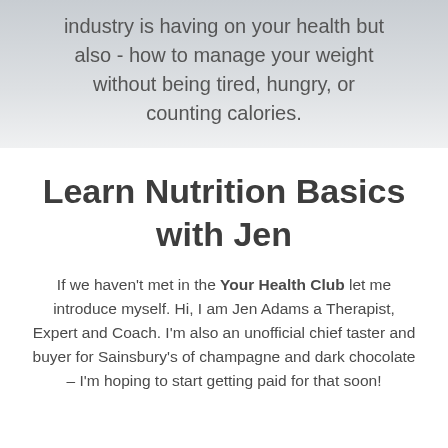industry is having on your health but also - how to manage your weight without being tired, hungry, or counting calories.
Learn Nutrition Basics with Jen
If we haven't met in the Your Health Club let me introduce myself. Hi, I am Jen Adams a Therapist, Expert and Coach. I'm also an unofficial chief taster and buyer for Sainsbury's of champagne and dark chocolate – I'm hoping to start getting paid for that soon!